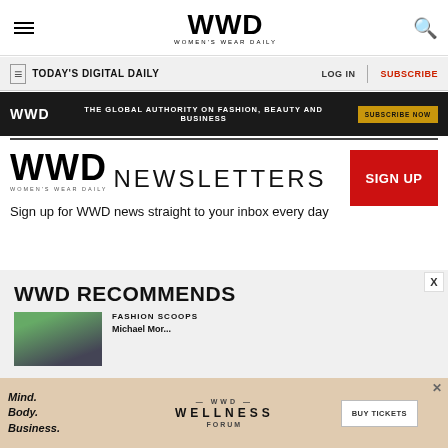WWD — Women's Wear Daily
TODAY'S DIGITAL DAILY | LOG IN | SUBSCRIBE
[Figure (infographic): Dark ad banner: WWD logo, 'The Global Authority on Fashion, Beauty and Business', Subscribe Now button]
WWD NEWSLETTERS
Sign up for WWD news straight to your inbox every day
WWD RECOMMENDS
FASHION SCOOPS
[Figure (photo): Thumbnail photo of a woman wearing sunglasses]
[Figure (infographic): Bottom ad: Mind. Body. Business. WWD Wellness Forum — Buy Tickets]